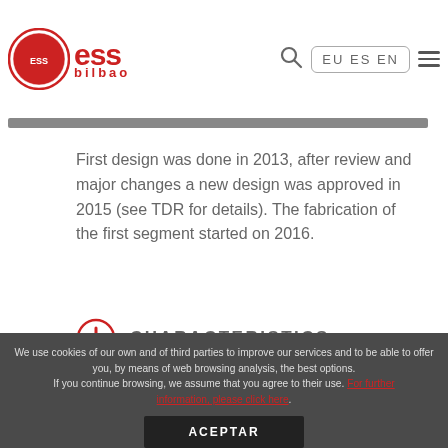ESS bilbao — EU ES EN
First design was done in 2013, after review and major changes a new design was approved in 2015 (see TDR for details). The fabrication of the first segment started on 2016.
CHARACTERISTICS
We use cookies of our own and of third parties to improve our services and to be able to offer you, by means of web browsing analysis, the best options. If you continue browsing, we assume that you agree to their use. For further information, please click here.